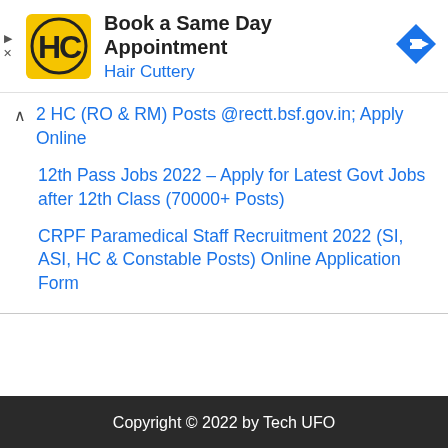[Figure (logo): Hair Cuttery advertisement banner with HC logo, text 'Book a Same Day Appointment', 'Hair Cuttery', and a blue navigation arrow icon]
2 HC (RO & RM) Posts @rectt.bsf.gov.in; Apply Online
12th Pass Jobs 2022 – Apply for Latest Govt Jobs after 12th Class (70000+ Posts)
CRPF Paramedical Staff Recruitment 2022 (SI, ASI, HC & Constable Posts) Online Application Form
Copyright © 2022 by Tech UFO